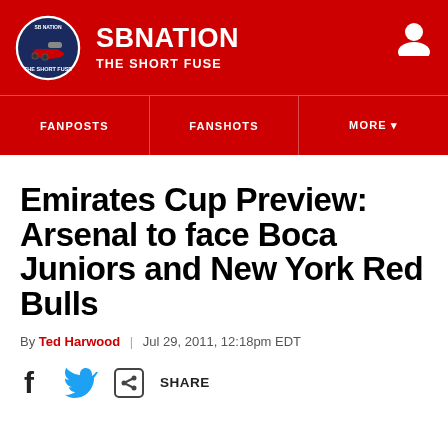SB NATION | THE SHORT FUSE
[Figure (logo): SB Nation / The Short Fuse circular logo with cannon graphic, on a red background header]
FANPOSTS | FANSHOTS | MORE
Emirates Cup Preview: Arsenal to face Boca Juniors and New York Red Bulls
By Ted Harwood | Jul 29, 2011, 12:18pm EDT
SHARE